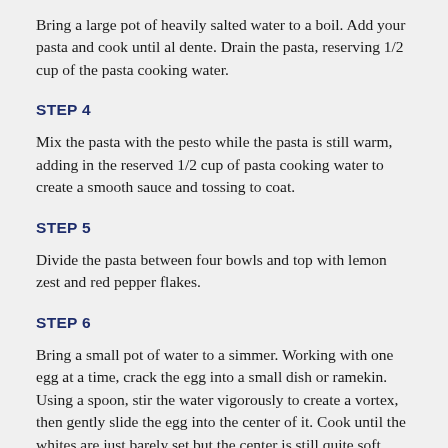Bring a large pot of heavily salted water to a boil. Add your pasta and cook until al dente. Drain the pasta, reserving 1/2 cup of the pasta cooking water.
STEP 4
Mix the pasta with the pesto while the pasta is still warm, adding in the reserved 1/2 cup of pasta cooking water to create a smooth sauce and tossing to coat.
STEP 5
Divide the pasta between four bowls and top with lemon zest and red pepper flakes.
STEP 6
Bring a small pot of water to a simmer. Working with one egg at a time, crack the egg into a small dish or ramekin. Using a spoon, stir the water vigorously to create a vortex, then gently slide the egg into the center of it. Cook until the whites are just barely set but the center is still quite soft. Using a slotted spoon